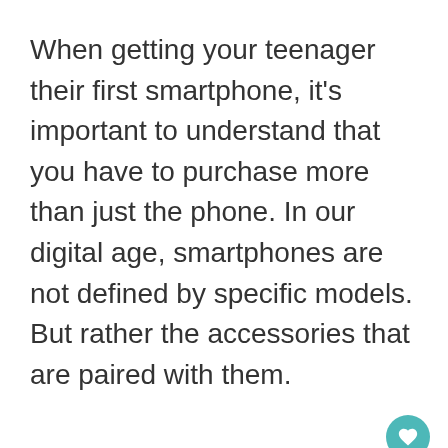When getting your teenager their first smartphone, it's important to understand that you have to purchase more than just the phone. In our digital age, smartphones are not defined by specific models. But rather the accessories that are paired with them.
[Figure (other): UI interaction buttons: a teal heart/like button, a count of 1, and a share button with circular arrow and plus icon]